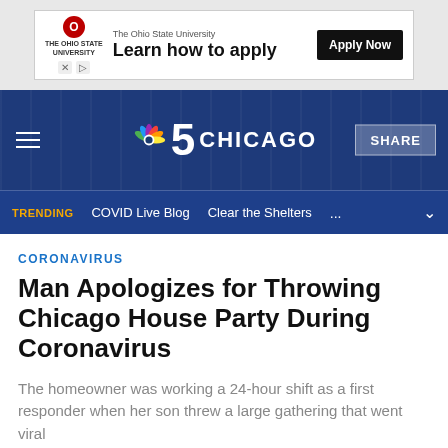[Figure (screenshot): Advertisement banner for The Ohio State University with logo, 'Learn how to apply' text and 'Apply Now' button]
[Figure (logo): NBC 5 Chicago navigation header with peacock logo, hamburger menu, and SHARE button]
TRENDING   COVID Live Blog   Clear the Shelters   ...
CORONAVIRUS
Man Apologizes for Throwing Chicago House Party During Coronavirus
The homeowner was working a 24-hour shift as a first responder when her son threw a large gathering that went viral
Published April 30, 2020 • Updated on April 30, 2020 at 1:36 pm